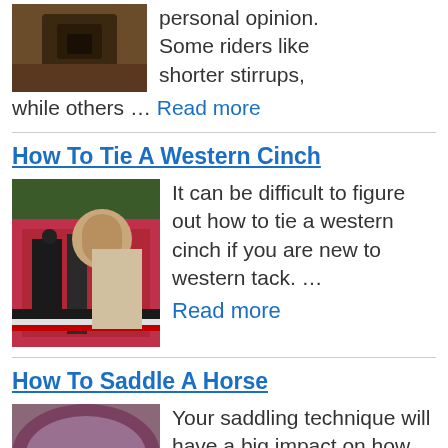[Figure (photo): Close-up of a black leather saddle on a brown horse]
personal opinion. Some riders like shorter stirrups, while others … Read more
How To Tie A Western Cinch
[Figure (photo): Person tying a western cinch on a horse with a red saddle pad]
It can be difficult to figure out how to tie a western cinch if you are new to western tack. … Read more
How To Saddle A Horse
[Figure (photo): Close-up of a saddle on a horse with colorful blanket]
Your saddling technique will have a big impact on how your horse reacts to being